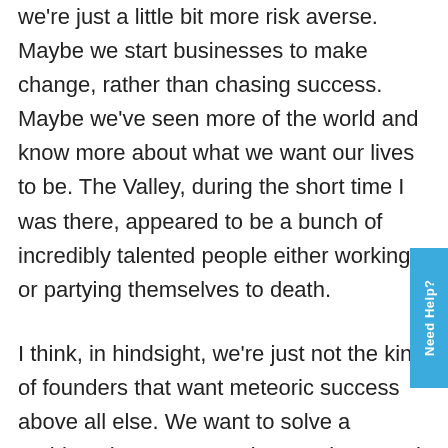we're just a little bit more risk averse. Maybe we start businesses to make change, rather than chasing success. Maybe we've seen more of the world and know more about what we want our lives to be. The Valley, during the short time I was there, appeared to be a bunch of incredibly talented people either working or partying themselves to death.
I think, in hindsight, we're just not the kind of founders that want meteoric success above all else. We want to solve a problem that we're passionate about, and if that happens to be in a market that means we'll never be billionaires… well… so be it. But we also